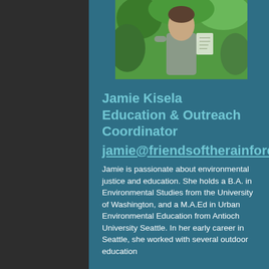[Figure (photo): Outdoor photo of a person standing in a green, leafy environment, holding papers or a clipboard. Person wearing a grey top.]
Jamie Kisela
Education & Outreach Coordinator
jamie@friendsoftherainforest.org
Jamie is passionate about environmental justice and education. She holds a B.A. in Environmental Studies from the University of Washington, and a M.A.Ed in Urban Environmental Education from Antioch University Seattle. In her early career in Seattle, she worked with several outdoor education